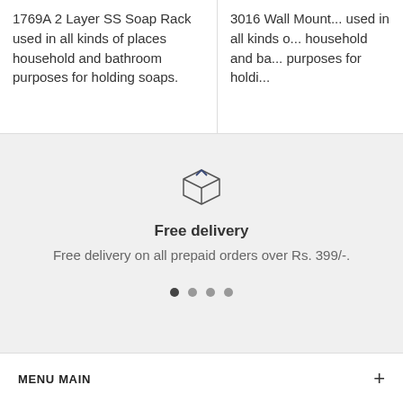1769A 2 Layer SS Soap Rack used in all kinds of places household and bathroom purposes for holding soaps.
3016 Wall Mount... used in all kinds of... household and ba... purposes for holdi...
[Figure (illustration): Simple line-art icon of a cardboard delivery box]
Free delivery
Free delivery on all prepaid orders over Rs. 399/-.
MENU MAIN